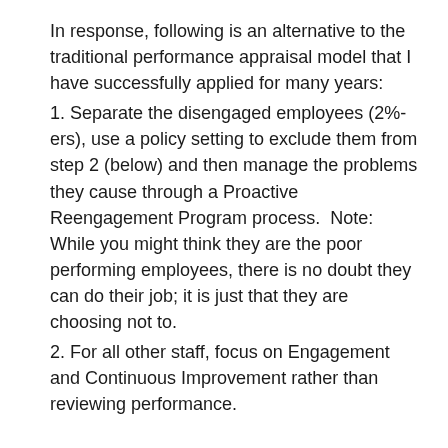In response, following is an alternative to the traditional performance appraisal model that I have successfully applied for many years:
1. Separate the disengaged employees (2%-ers), use a policy setting to exclude them from step 2 (below) and then manage the problems they cause through a Proactive Reengagement Program process.  Note: While you might think they are the poor performing employees, there is no doubt they can do their job; it is just that they are choosing not to.
2. For all other staff, focus on Engagement and Continuous Improvement rather than reviewing performance.